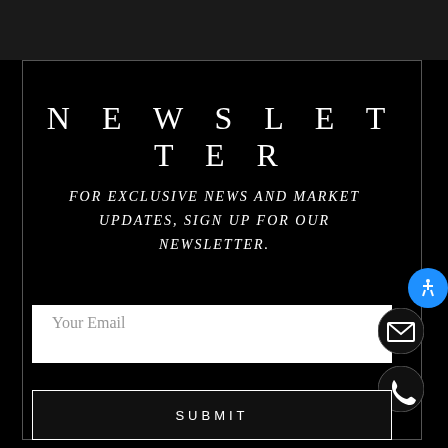NEWSLETTER
FOR EXCLUSIVE NEWS AND MARKET UPDATES, SIGN UP FOR OUR NEWSLETTER.
Your Email
SUBMIT